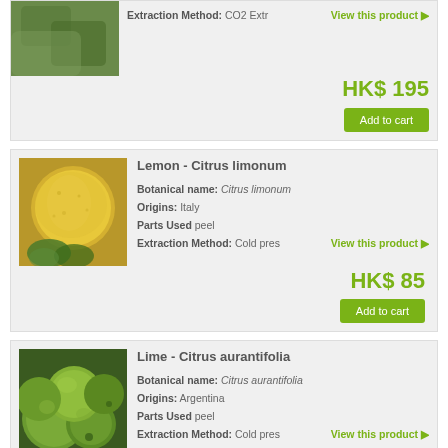[Figure (photo): Partial product photo at top of page (previous product)]
Extraction Method: CO2 Extraction
View this product ▶
HK$ 195
Add to cart
Lemon - Citrus limonum
Botanical name: Citrus limonum
Origins: Italy
Parts Used peel
Extraction Method: Cold press
View this product ▶
HK$ 85
Add to cart
Lime - Citrus aurantifolia
Botanical name: Citrus aurantifolia
Origins: Argentina
Parts Used peel
Extraction Method: Cold press
View this product ▶
HK$ 80